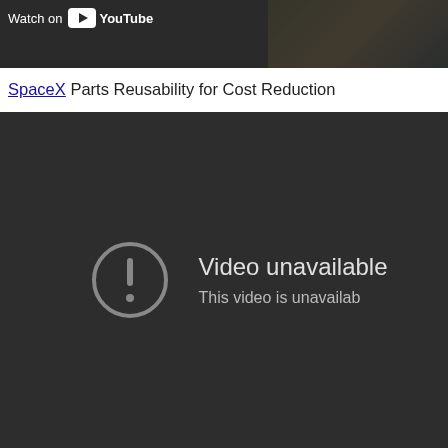[Figure (screenshot): Top portion of a YouTube video embed showing 'Watch on YouTube' button with YouTube logo, partially visible video thumbnail with decorative imagery]
SpaceX Parts Reusability for Cost Reduction
[Figure (screenshot): YouTube embedded video player showing dark gray background with a circular exclamation mark icon and text 'Video unavailable - This video is unavailab[le]']